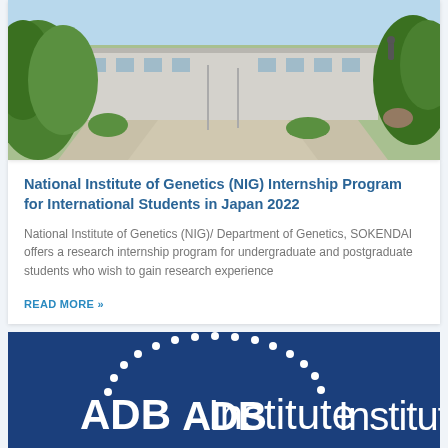[Figure (photo): Outdoor campus photo showing a building, pathways, greenery, flags, and a person walking. Sky visible at top.]
National Institute of Genetics (NIG) Internship Program for International Students in Japan 2022
National Institute of Genetics (NIG)/ Department of Genetics, SOKENDAI offers a research internship program for undergraduate and postgraduate students who wish to gain research experience
READ MORE »
[Figure (logo): ADBInstitute logo — white text and dotted arc on dark navy blue background]